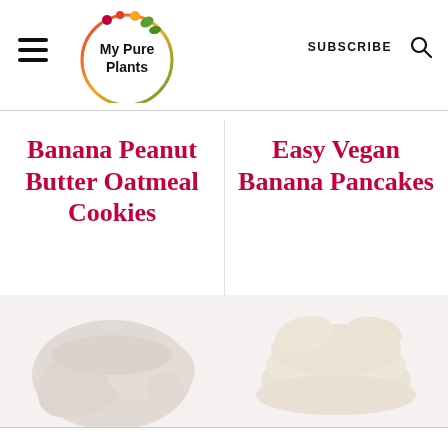My Pure Plants — SUBSCRIBE
Banana Peanut Butter Oatmeal Cookies
Easy Vegan Banana Pancakes
[Figure (photo): Faded background photo of banana peanut butter oatmeal cookies]
[Figure (photo): Faded background photo of vegan banana pancakes]